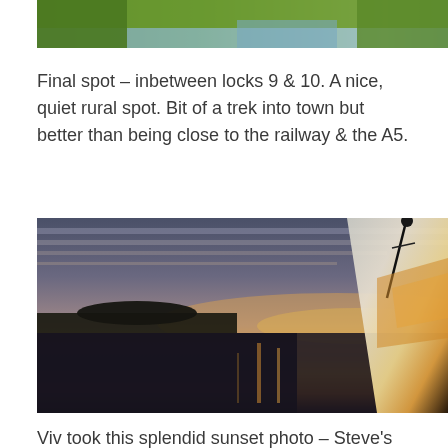[Figure (photo): Partial view of a canal or waterway with green grassy banks, photographed from above or at an angle, cropped at the top of the page.]
Final spot – inbetween locks 9 & 10. A nice, quiet rural spot. Bit of a trek into town but better than being close to the railway & the A5.
[Figure (photo): A sunset photo taken from a narrowboat on a canal. The sky shows dramatic orange, pink and grey clouds reflected in the still water. The silhouette of the boat's equipment is visible on the right side.]
Viv took this splendid sunset photo – Steve's